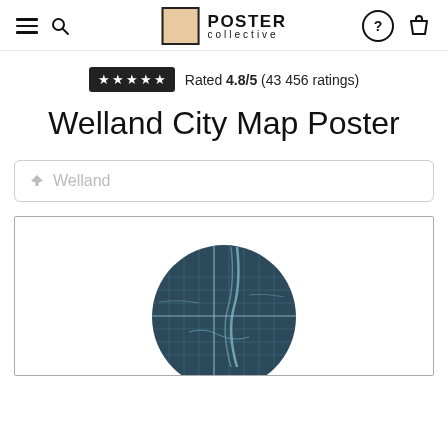Poster Collective navigation header with hamburger menu, search icon, logo, help icon, and shopping bag
Rated 4.8/5 (43 456 ratings)
Welland City Map Poster
Welland
[Figure (map): Circular Welland city map poster preview on white poster background, dark navy blue map with street grid lines forming a circular design]